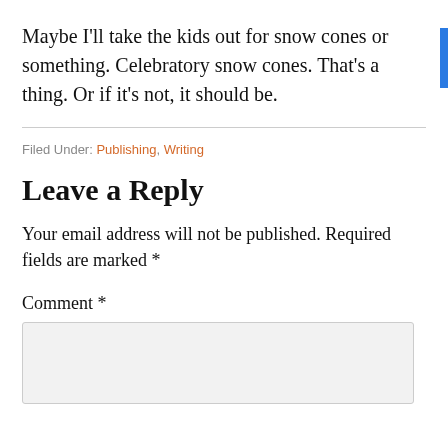Maybe I'll take the kids out for snow cones or something. Celebratory snow cones. That's a thing. Or if it's not, it should be.
Filed Under: Publishing, Writing
Leave a Reply
Your email address will not be published. Required fields are marked *
Comment *